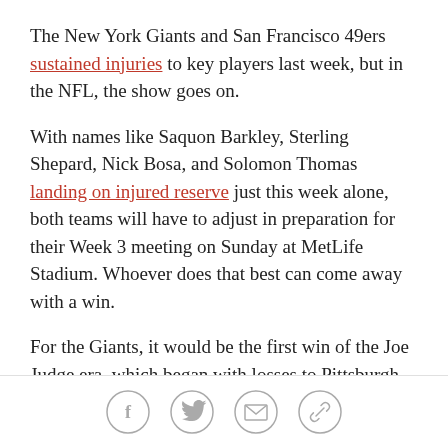The New York Giants and San Francisco 49ers sustained injuries to key players last week, but in the NFL, the show goes on.
With names like Saquon Barkley, Sterling Shepard, Nick Bosa, and Solomon Thomas landing on injured reserve just this week alone, both teams will have to adjust in preparation for their Week 3 meeting on Sunday at MetLife Stadium. Whoever does that best can come away with a win.
For the Giants, it would be the first win of the Joe Judge era, which began with losses to Pittsburgh and Chicago. For the 49ers, it would mean a 2-1 start in their defense of the conference crown.
"Obviously, we're playing one of the greatest historical
[Figure (other): Social sharing icons: Facebook, Twitter, Email, Link]